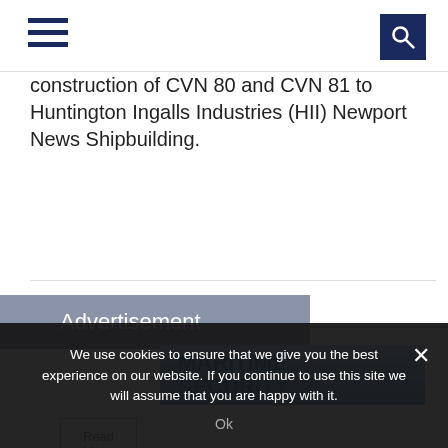[hamburger menu icon] [search icon]
construction of CVN 80 and CVN 81 to Huntington Ingalls Industries (HII) Newport News Shipbuilding.
Read More
Advertisement
[Figure (screenshot): Advertisement image showing 'MARITIME SECURITY' text on a blue/grey sky background]
We use cookies to ensure that we give you the best experience on our website. If you continue to use this site we will assume that you are happy with it.
Ok